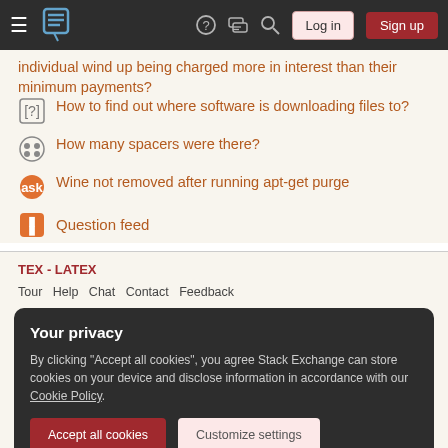Stack Exchange navigation bar with Log in and Sign up buttons
individual wind up being charged more in interest than their minimum payments?
How to find out where software is downloading files to?
How many spacers were there?
Wine not removed after running apt-get purge
Question feed
TEX - LATEX
Tour  Help  Chat  Contact  Feedback
Your privacy
By clicking "Accept all cookies", you agree Stack Exchange can store cookies on your device and disclose information in accordance with our Cookie Policy.
Accept all cookies  Customize settings
Business  API  Data